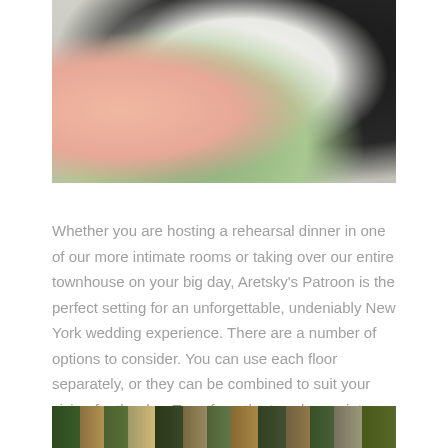[Figure (photo): Wedding photo showing a couple dancing or embracing, bride in white dress and groom in dark suit, with blurred background of warm and green tones]
Whether you are hosting a rehearsal dinner in one of our more intimate rooms or taking over our entire townhouse on your big day, Aretsky's Patroon is the perfect setting for an unforgettable, undeniably New York wedding experience. There are a number of options to consider. You can use each floor separately, or they can be combined to suit your vision for the day. Transform the townhouse into something all your own!
[Figure (photo): Outdoor venue or garden setting with greenery and architectural elements, partially visible at the bottom of the page]